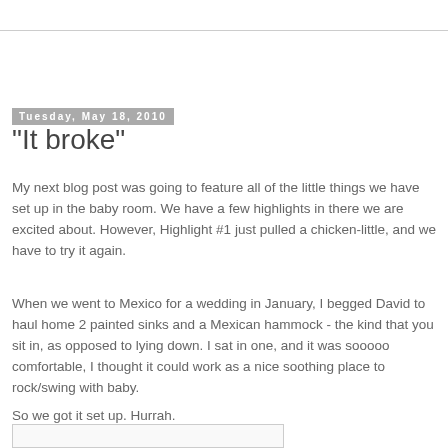Tuesday, May 18, 2010
"It broke"
My next blog post was going to feature all of the little things we have set up in the baby room. We have a few highlights in there we are excited about. However, Highlight #1 just pulled a chicken-little, and we have to try it again.
When we went to Mexico for a wedding in January, I begged David to haul home 2 painted sinks and a Mexican hammock - the kind that you sit in, as opposed to lying down. I sat in one, and it was sooooo comfortable, I thought it could work as a nice soothing place to rock/swing with baby.
So we got it set up. Hurrah.
[Figure (photo): Image placeholder at bottom of page]